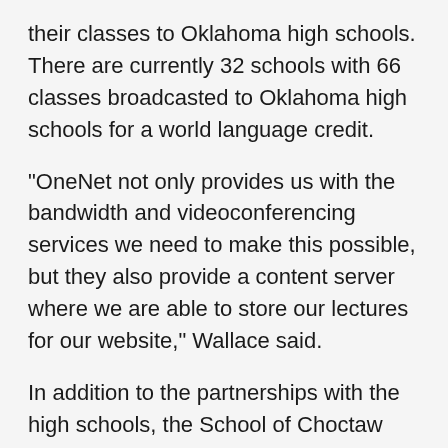their classes to Oklahoma high schools. There are currently 32 schools with 66 classes broadcasted to Oklahoma high schools for a world language credit.
“OneNet not only provides us with the bandwidth and videoconferencing services we need to make this possible, but they also provide a content server where we are able to store our lectures for our website,” Wallace said.
In addition to the partnerships with the high schools, the School of Choctaw Language has a partnership with Southeastern Oklahoma State University, in Durant, to offer a minor in the Choctaw language, an 18-credit-hour program. The Choctaw language was the first tribal language to carry the world language credit in public schools and at the collegiate level.